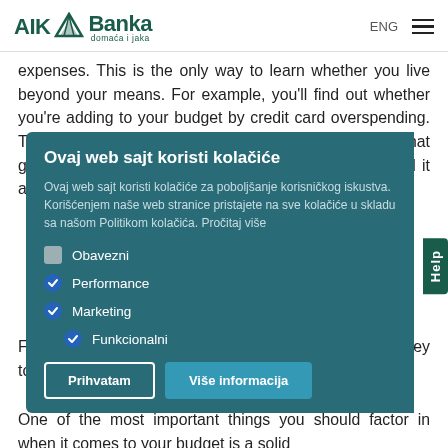AIK Banka domaća i jaka | ENG
expenses. This is the only way to learn whether you live beyond your means. For example, you'll find out whether you're adding to your budget by credit card overspending. This is the only way to avoid falling into a trap of debt that grows to such an extent that you can no longer control it and it becomes a source of serious financial trouble.
Find where you can cut your costs. Put aside more money to reduce your credit card or overdraft debt.
One of the most important things you should factor in when it comes to your budget is a solid
[Figure (other): Cookie consent modal overlay on AIK Banka website. Title: 'Ovaj web sajt koristi kolačiće'. Description text: 'Ovaj web sajt koristi kolačiće za poboljšanje korisničkog iskustva. Korišćenjem naše web stranice pristajete na sve kolačiće u skladu sa našom Politikom kolačića. Pročitaj više'. Options: Obavezni (gray checkbox), Performance (blue checkmark), Marketing (blue checkmark), Funkcionalni (blue checkmark). Buttons: 'Prihvatam' and 'Više informacija'.]